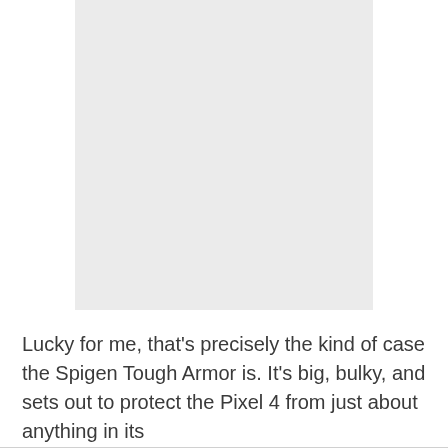[Figure (photo): A light gray rectangular placeholder image occupying the upper portion of the page.]
Lucky for me, that's precisely the kind of case the Spigen Tough Armor is. It's big, bulky, and sets out to protect the Pixel 4 from just about anything in its